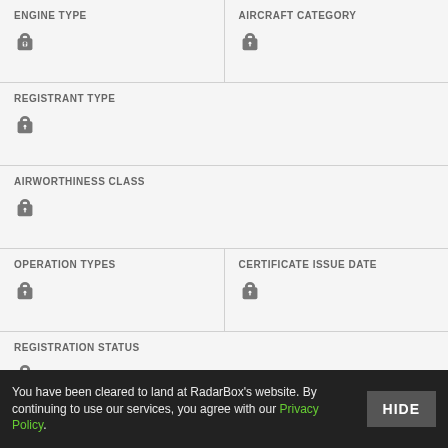ENGINE TYPE
AIRCRAFT CATEGORY
REGISTRANT TYPE
AIRWORTHINESS CLASS
OPERATION TYPES
CERTIFICATE ISSUE DATE
REGISTRATION STATUS
[Figure (screenshot): Advertisement banner for BitLife app with green and red background]
You have been cleared to land at RadarBox's website. By continuing to use our services, you agree with our Privacy Policy.